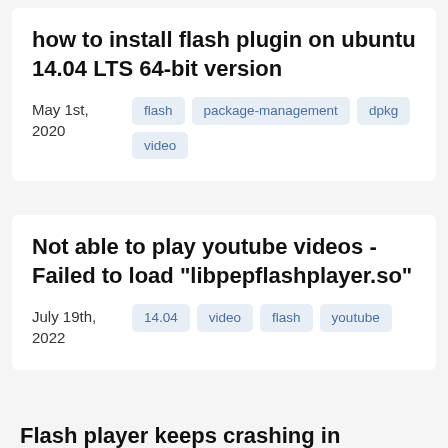how to install flash plugin on ubuntu 14.04 LTS 64-bit version
May 1st, 2020
flash
package-management
dpkg
video
Not able to play youtube videos - Failed to load "libpepflashplayer.so"
July 19th, 2022
14.04
video
flash
youtube
Flash player keeps crashing in